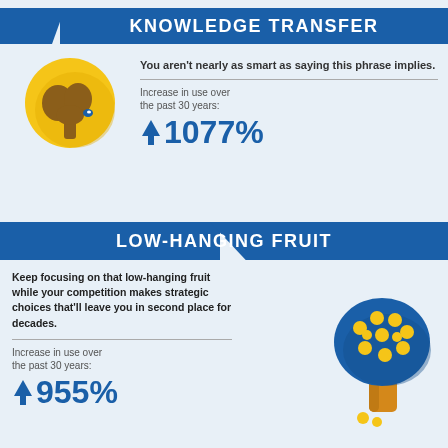KNOWLEDGE TRANSFER
[Figure (illustration): Yellow circle with brown brain/tree icon inside, representing the concept of knowledge transfer]
You aren't nearly as smart as saying this phrase implies.
Increase in use over the past 30 years:
↑1077%
LOW-HANGING FRUIT
Keep focusing on that low-hanging fruit while your competition makes strategic choices that'll leave you in second place for decades.
Increase in use over the past 30 years:
↑955%
[Figure (illustration): Blue tree with yellow/gold fruit dots and orange trunk, representing the concept of low-hanging fruit]